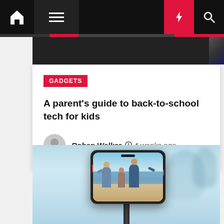Navigation bar with home, menu, moon, flash, search icons
[Figure (screenshot): Partial top image strip showing dark background]
GADGETS
A parent's guide to back-to-school tech for kids
Roben Walker  4 weeks ago
[Figure (photo): A smartphone mounted on a gimbal/stabilizer photographed against a light blue sky background with blurred family figures in the background. The phone screen shows a family of three at a beach.]